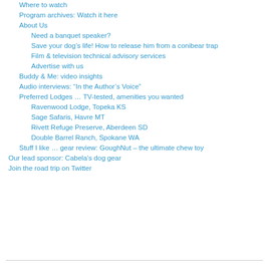Where to watch
Program archives: Watch it here
About Us
Need a banquet speaker?
Save your dog’s life! How to release him from a conibear trap
Film & television technical advisory services
Advertise with us
Buddy & Me: video insights
Audio interviews: “In the Author’s Voice”
Preferred Lodges … TV-tested, amenities you wanted
Ravenwood Lodge, Topeka KS
Sage Safaris, Havre MT
Rivett Refuge Preserve, Aberdeen SD
Double Barrel Ranch, Spokane WA
Stuff I like … gear review: GoughNut – the ultimate chew toy
Our lead sponsor: Cabela’s dog gear
Join the road trip on Twitter